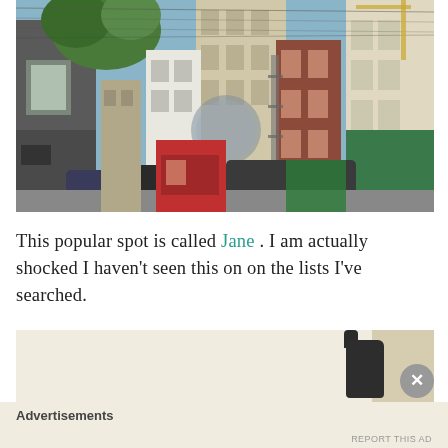[Figure (photo): Street-level photograph of an urban alley or street in San Francisco showing multi-story buildings of various colors (gray, beige, brown brick, green), fire escapes, overhead wires, parked vehicles, trees with foliage, and a blurred circular street sign in the middle distance under a blue sky.]
This popular spot is called Jane . I am actually shocked I haven't seen this on on the lists I've searched.
[Figure (other): Advertisement banner with a dark bottle product image on a beige/tan background with a close (X) button.]
Advertisements